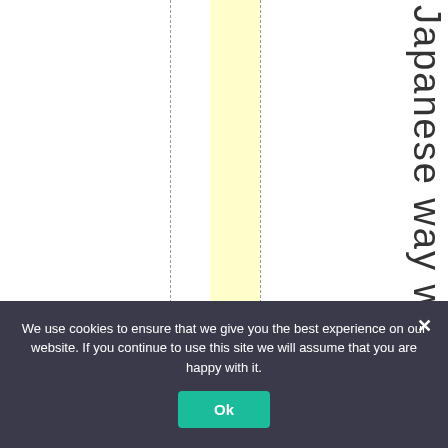[Figure (other): Page with a yellow highlighted vertical column strip and two dashed vertical lines. Vertical text reading 'Japanese way whether' appears on the right side.]
Japanese way wheth
We use cookies to ensure that we give you the best experience on our website. If you continue to use this site we will assume that you are happy with it.
Ok